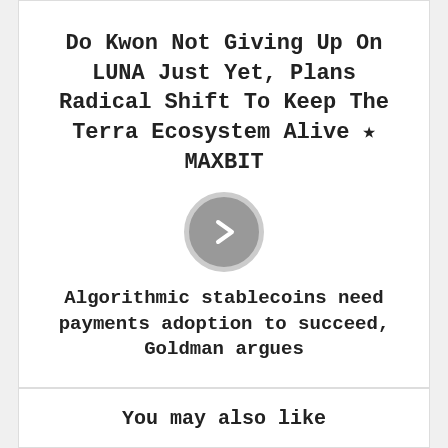Do Kwon Not Giving Up On LUNA Just Yet, Plans Radical Shift To Keep The Terra Ecosystem Alive ★ MAXBIT
[Figure (other): A circular grey play/next button with a right-pointing chevron arrow]
Algorithmic stablecoins need payments adoption to succeed, Goldman argues
You may also like